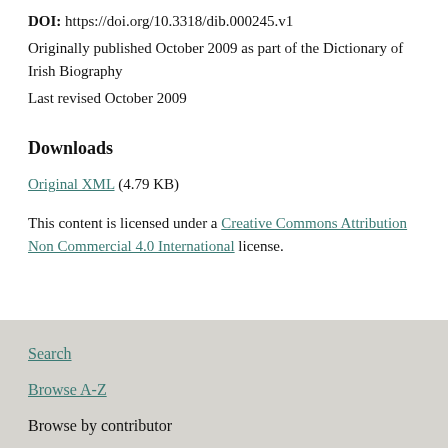DOI: https://doi.org/10.3318/dib.000245.v1
Originally published October 2009 as part of the Dictionary of Irish Biography
Last revised October 2009
Downloads
Original XML (4.79 KB)
This content is licensed under a Creative Commons Attribution Non Commercial 4.0 International license.
Search
Browse A-Z
Browse by contributor